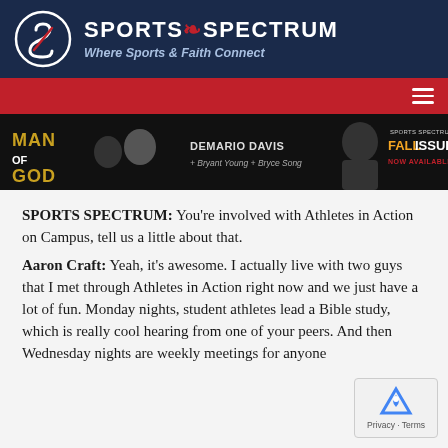SPORTS SPECTRUM | Where Sports & Faith Connect
[Figure (illustration): Sports Spectrum Man of God banner featuring DeMario Davis, Bryant Young, and Bryce Song with Sports Spectrum Magazine Fall Issue Now Available]
SPORTS SPECTRUM: You’re involved with Athletes in Action on Campus, tell us a little about that. Aaron Craft: Yeah, it’s awesome. I actually live with two guys that I met through Athletes in Action right now and we just have a lot of fun. Monday nights, student athletes lead a Bible study, which is really cool hearing from one of your peers. And then Wednesday nights are weekly meetings for anyone